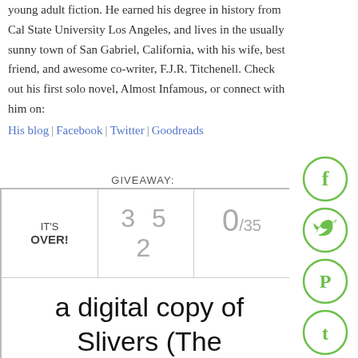young adult fiction. He earned his degree in history from Cal State University Los Angeles, and lives in the usually sunny town of San Gabriel, California, with his wife, best friend, and awesome co-writer, F.J.R. Titchenell. Check out his first solo novel, Almost Infamous, or connect with him on:
His blog | Facebook | Twitter | Goodreads
GIVEAWAY:
| IT'S OVER! | 3 5 2 | 0/35 |
| --- | --- | --- |
| a digital copy of Slivers (The Prospero Chronicles #3) |  |  |
[Figure (infographic): Social sharing icons on right side: Facebook (f), Twitter (bird), Pinterest (P), Tumblr (t), StumbleUpon (su) — all green circle icons]